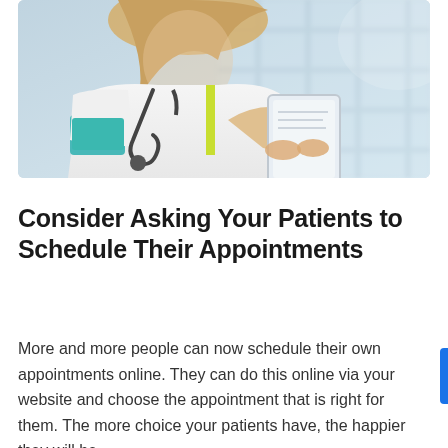[Figure (photo): A female doctor wearing a white coat with a teal sleeve band and stethoscope, holding a tablet device, with a window and blurred building in the background.]
Consider Asking Your Patients to Schedule Their Appointments
More and more people can now schedule their own appointments online. They can do this online via your website and choose the appointment that is right for them. The more choice your patients have, the happier they will be....